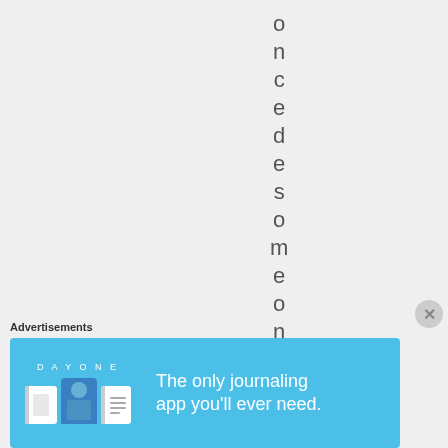o n c e d e s o m e o n e
Advertisements
[Figure (other): Day One app advertisement banner with blue background showing icons and text 'The only journaling app you'll ever need.']